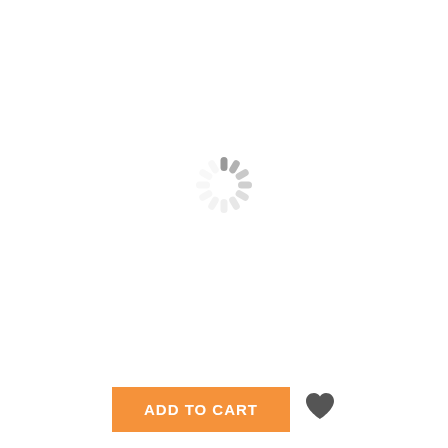[Figure (other): Loading spinner icon (circular with radiating dashes in light gray) centered in the upper image area of an e-commerce product page]
[Figure (other): Orange 'ADD TO CART' button and a dark gray heart/wishlist icon below the product image area]